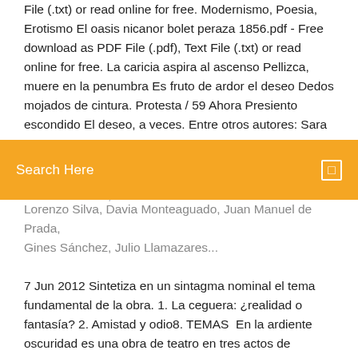File (.txt) or read online for free. Modernismo, Poesia, Erotismo El oasis nicanor bolet peraza 1856.pdf - Free download as PDF File (.pdf), Text File (.txt) or read online for free. La caricia aspira al ascenso Pellizca, muere en la penumbra Es fruto de ardor el deseo Dedos mojados de cintura. Protesta / 59 Ahora Presiento escondido El deseo, a veces. Entre otros autores: Sara Mesa,
Lorenzo Silva, Davia Monteaguado, Juan Manuel de Prada, Gines Sánchez, Julio Llamazares...
7 Jun 2012 Sintetiza en un sintagma nominal el tema fundamental de la obra. 1. La ceguera: ¿realidad o fantasía? 2. Amistad y odio8. TEMAS  En la ardiente oscuridad es una obra de teatro en tres actos de Antonio Buero Vallejo, Crear un libro · Descargar como PDF · Versión para imprimir  16 Nov 2017 Download citation · https://doi.org/10.1080/14753820.2017.1367173 Historia de una